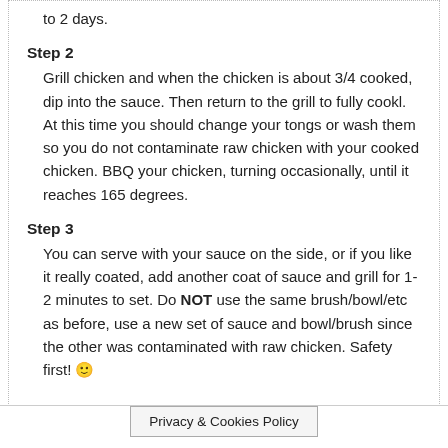to 2 days.
Step 2
Grill chicken and when the chicken is about 3/4 cooked, dip into the sauce. Then return to the grill to fully cookl. At this time you should change your tongs or wash them so you do not contaminate raw chicken with your cooked chicken. BBQ your chicken, turning occasionally, until it reaches 165 degrees.
Step 3
You can serve with your sauce on the side, or if you like it really coated, add another coat of sauce and grill for 1-2 minutes to set. Do NOT use the same brush/bowl/etc as before, use a new set of sauce and bowl/brush since the other was contaminated with raw chicken. Safety first! 🙂
Privacy & Cookies Policy